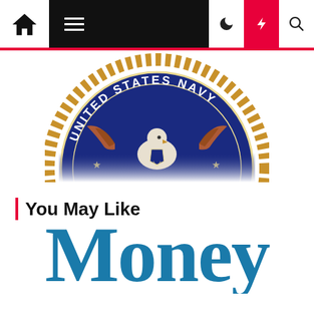Navigation bar with home, menu, moon, bolt, and search icons
[Figure (logo): United States Navy seal/emblem showing a bald eagle with wings spread, surrounded by a rope border and the text 'UNITED STATES NAVY' on a dark blue circular background]
You May Like
[Figure (logo): Partial view of 'Money' text logo in large teal/blue bold serif font, cropped at bottom of page]